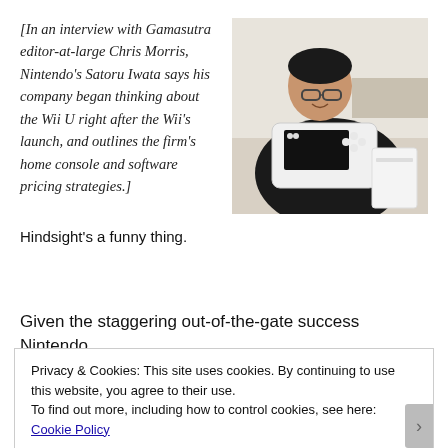[In an interview with Gamasutra editor-at-large Chris Morris, Nintendo's Satoru Iwata says his company began thinking about the Wii U right after the Wii's launch, and outlines the firm's home console and software pricing strategies.]
[Figure (photo): Photo of Nintendo's Satoru Iwata holding a Wii U GamePad controller and console]
Hindsight's a funny thing.
Given the staggering out-of-the-gate success Nintendo
Privacy & Cookies: This site uses cookies. By continuing to use this website, you agree to their use.
To find out more, including how to control cookies, see here: Cookie Policy
Close and accept